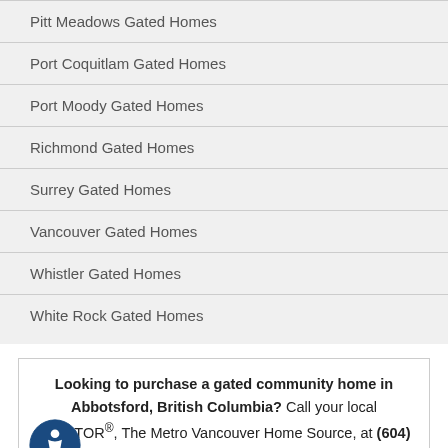Pitt Meadows Gated Homes
Port Coquitlam Gated Homes
Port Moody Gated Homes
Richmond Gated Homes
Surrey Gated Homes
Vancouver Gated Homes
Whistler Gated Homes
White Rock Gated Homes
Looking to purchase a gated community home in Abbotsford, British Columbia? Call your local REALTOR®, The Metro Vancouver Home Source, at (604) 937-0200. Our real estate experts are here to guide you